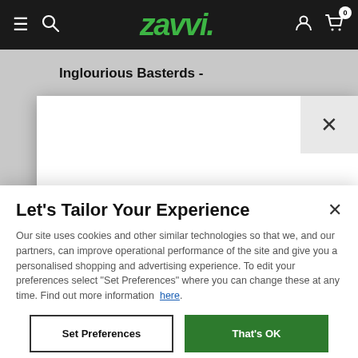[Figure (screenshot): Zavvi e-commerce website navigation bar with hamburger menu, search icon, Zavvi logo in green italic, user icon, and cart icon with 0 badge, on black background]
Inglourious Basterds -
[Figure (screenshot): Welcome modal dialog partially visible, showing WELCOME in large bold black text and an X close button on grey background]
Let's Tailor Your Experience
Our site uses cookies and other similar technologies so that we, and our partners, can improve operational performance of the site and give you a personalised shopping and advertising experience. To edit your preferences select “Set Preferences” where you can change these at any time. Find out more information  here.
Set Preferences
That's OK